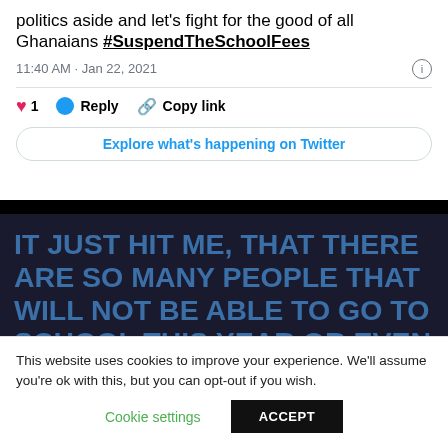politics aside and let's fight for the good of all Ghanaians #SuspendTheSchoolFees
11:40 AM · Jan 22, 2021
1  Reply  Copy link
Explore what's happening on Twitter
IT JUST HIT ME, THAT THERE ARE SO MANY PEOPLE THAT WILL NOT BE ABLE TO GO TO SCHOOL THIS YEAR OR EVEN CONTINUE WITH THEIR STUDIES BECAUSE THEY DON'T HAVE
This website uses cookies to improve your experience. We'll assume you're ok with this, but you can opt-out if you wish.
Cookie settings  ACCEPT